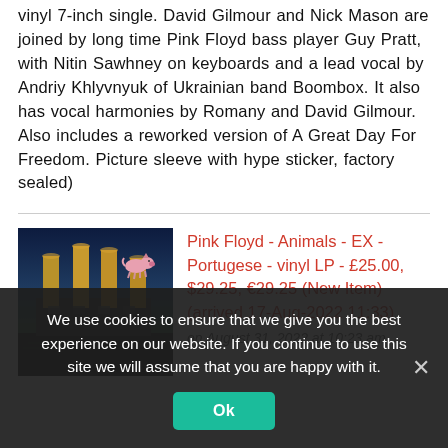vinyl 7-inch single. David Gilmour and Nick Mason are joined by long time Pink Floyd bass player Guy Pratt, with Nitin Sawhney on keyboards and a lead vocal by Andriy Khlyvnyuk of Ukrainian band Boombox. It also has vocal harmonies by Romany and David Gilmour. Also includes a reworked version of A Great Day For Freedom. Picture sleeve with hype sticker, factory sealed)
[Figure (photo): Album cover for Pink Floyd Animals showing Battersea Power Station with pink pig flying overhead, dark dramatic sky]
Pink Floyd - Animals - EX - Portugese - vinyl LP - £25.00, $29.25, €29.25 (New Item) (arrived 17-Aug-2022 11:33)
on August 31, 2022 at 10:23 am
We use cookies to ensure that we give you the best experience on our website. If you continue to use this site we will assume that you are happy with it.